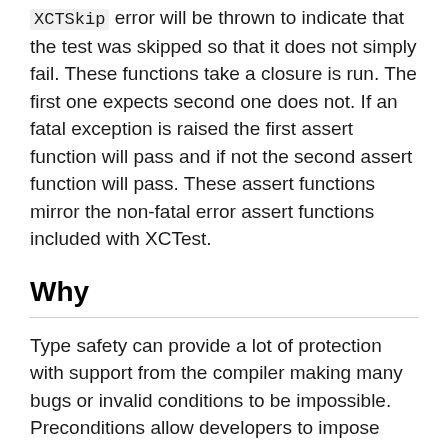XCTSkip error will be thrown to indicate that the test was skipped so that it does not simply fail. These functions take a closure is run. The first one expects second one does not. If an fatal exception is raised the first assert function will pass and if not the second assert function will pass. These assert functions mirror the non-fatal error assert functions included with XCTest.
Why
Type safety can provide a lot of protection with support from the compiler making many bugs or invalid conditions to be impossible. Preconditions allow developers to impose strict requirements at runtime to compliment type safety. Apple prefers to have apps to be killed when it the problem is a result of programmer error. Placing preconditions in code to verify assumptions and enforce requirements can help